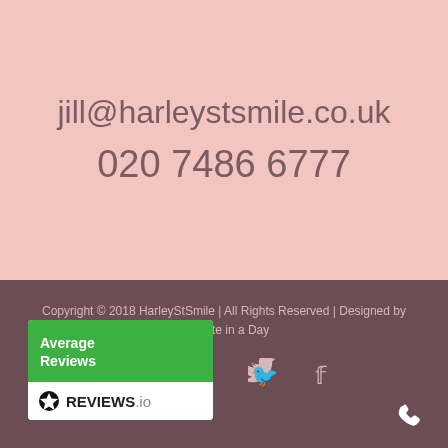jill@harleystsmile.co.uk
020 7486 6777
Copyright © 2018 HarleyStSmile | All Rights Reserved | Designed by Website in a Day
[Figure (logo): Social media icons: Facebook, Twitter, Instagram]
[Figure (logo): Reviews.io widget showing Average Reviews badge with green header and white logo bar]